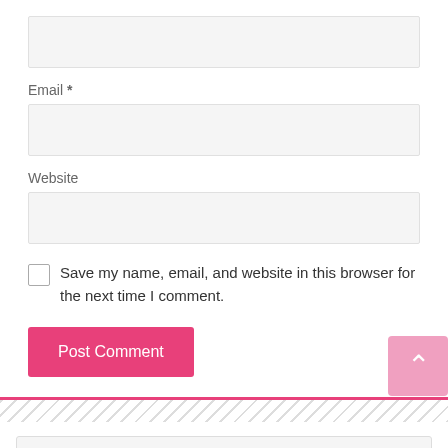[Figure (screenshot): A web form section showing text input fields for Email and Website, a checkbox for saving browser info, and a pink Post Comment button.]
Email *
Website
Save my name, email, and website in this browser for the next time I comment.
Post Comment
Search …
Search
MOST RECENT JOB CIRCULAR